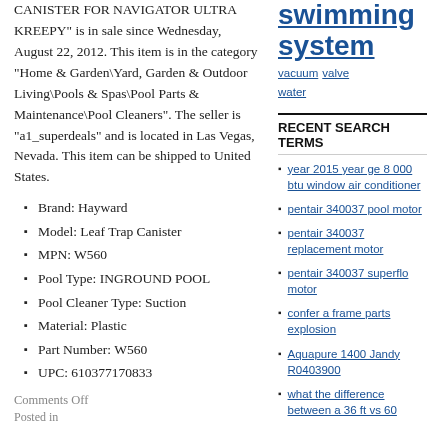CANISTER FOR NAVIGATOR ULTRA KREEPY" is in sale since Wednesday, August 22, 2012. This item is in the category "Home & Garden\Yard, Garden & Outdoor Living\Pools & Spas\Pool Parts & Maintenance\Pool Cleaners". The seller is "a1_superdeals" and is located in Las Vegas, Nevada. This item can be shipped to United States.
Brand: Hayward
Model: Leaf Trap Canister
MPN: W560
Pool Type: INGROUND POOL
Pool Cleaner Type: Suction
Material: Plastic
Part Number: W560
UPC: 610377170833
Comments Off
swimming system vacuum valve water
RECENT SEARCH TERMS
year 2015 year ge 8 000 btu window air conditioner
pentair 340037 pool motor
pentair 340037 replacement motor
pentair 340037 superflo motor
confer a frame parts explosion
Aquapure 1400 Jandy R0403900
what the difference between a 36 ft vs 60